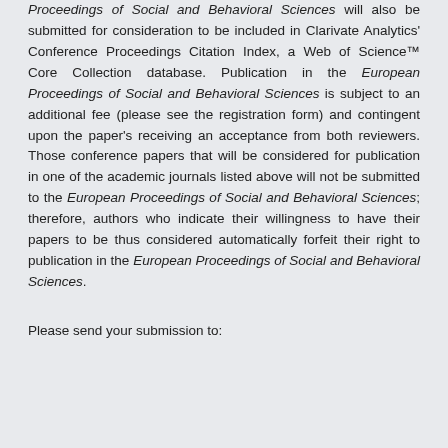Proceedings of Social and Behavioral Sciences will also be submitted for consideration to be included in Clarivate Analytics' Conference Proceedings Citation Index, a Web of Science™ Core Collection database. Publication in the European Proceedings of Social and Behavioral Sciences is subject to an additional fee (please see the registration form) and contingent upon the paper's receiving an acceptance from both reviewers. Those conference papers that will be considered for publication in one of the academic journals listed above will not be submitted to the European Proceedings of Social and Behavioral Sciences; therefore, authors who indicate their willingness to have their papers to be thus considered automatically forfeit their right to publication in the European Proceedings of Social and Behavioral Sciences.
Please send your submission to: